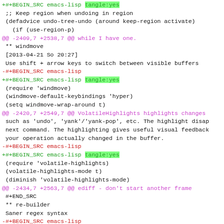[Figure (screenshot): A code diff view showing emacs-lisp source blocks with green added lines, red removed lines, and magenta diff hunk headers on a white background.]